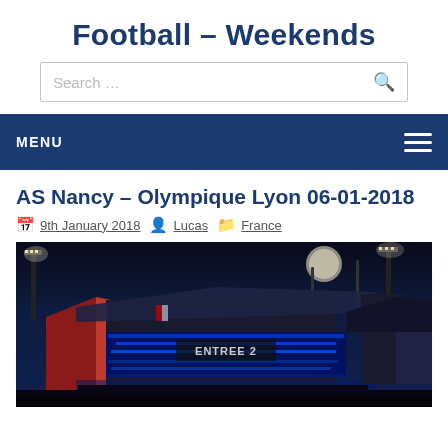Football – Weekends
Search …
MENU
AS Nancy – Olympique Lyon 06-01-2018
9th January 2018  Lucas  France
[Figure (photo): Night-time exterior photo of a football stadium (Nancy stadium) showing illuminated blue LED lights on the entrance canopy, floodlight towers, and signage reading ENTREE 2.]